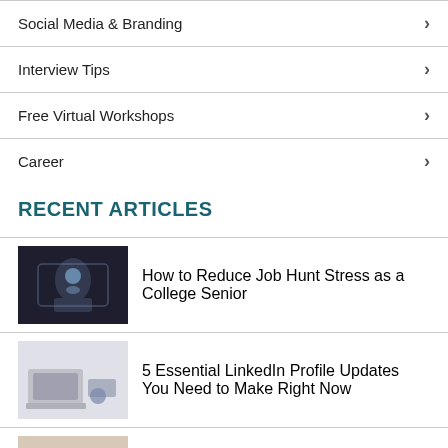Social Media & Branding
Interview Tips
Free Virtual Workshops
Career
RECENT ARTICLES
How to Reduce Job Hunt Stress as a College Senior
5 Essential LinkedIn Profile Updates You Need to Make Right Now
How to Discuss Your Career Change Goals